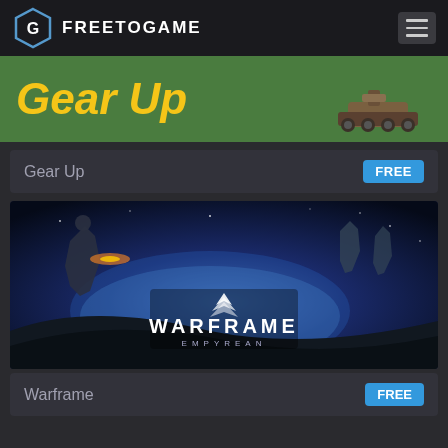FREETOGAME
[Figure (screenshot): Green ad banner with yellow italic bold 'Gear Up' text and small tank/game art on the right side]
Gear Up    FREE
[Figure (screenshot): Warframe Empyrean game art showing armored warriors in space combat with 'WARFRAME EMPYREAN' logo overlay]
Warframe    FREE